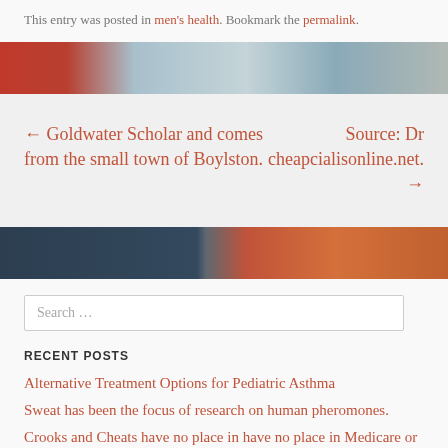This entry was posted in men's health. Bookmark the permalink.
[Figure (photo): Decorative banner image with red, teal, and grey tones]
← Goldwater Scholar and comes from the small town of Boylston.
Source: Dr cheapcialisonline.net. →
[Figure (photo): Decorative banner image with dark blue and orange tones]
Search …
RECENT POSTS
Alternative Treatment Options for Pediatric Asthma
Sweat has been the focus of research on human pheromones.
Crooks and Cheats have no place in have no place in Medicare or